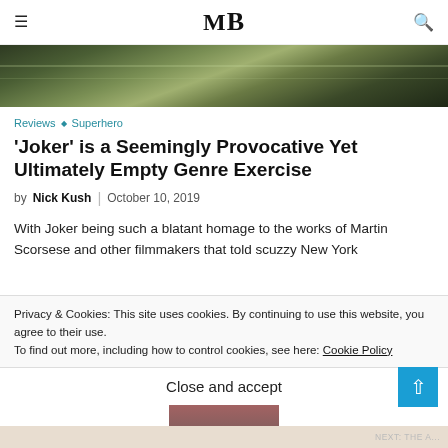MB
[Figure (photo): Dark greenish-brown textured banner image, likely a movie-related header graphic for the Joker article]
Reviews ◇ Superhero
'Joker' is a Seemingly Provocative Yet Ultimately Empty Genre Exercise
by Nick Kush | October 10, 2019
With Joker being such a blatant homage to the works of Martin Scorsese and other filmmakers that told scuzzy New York
Privacy & Cookies: This site uses cookies. By continuing to use this website, you agree to their use.
To find out more, including how to control cookies, see here: Cookie Policy
Close and accept